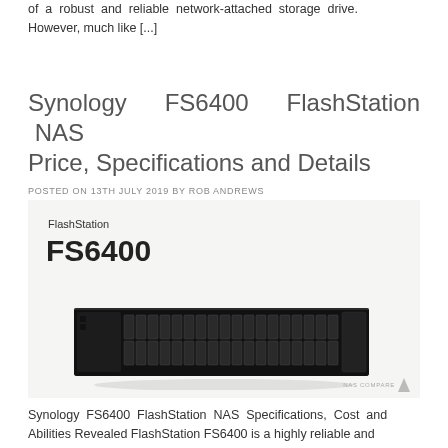of a robust and reliable network-attached storage drive. However, much like [...]
Synology FS6400 FlashStation NAS Price, Specifications and Details
POSTED ON 13TH JULY 2019 BY ROB ANDREWS
[Figure (photo): Synology FlashStation FS6400 NAS device — a 2U rackmount unit with 24 drive bays, shown on a light gray background with FlashStation and FS6400 text labels]
Synology FS6400 FlashStation NAS Specifications, Cost and Abilities Revealed FlashStation FS6400 is a highly reliable and